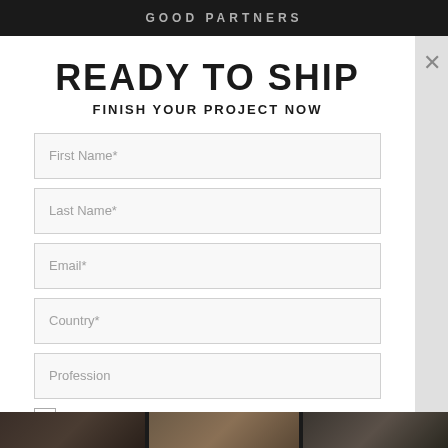GOOD PARTNERS
READY TO SHIP
FINISH YOUR PROJECT NOW
First Name*
Last Name*
Email*
Country*
Profession
I HAVE READ AND ACCEPT YOUR PRIVACY POLICY*
DOWNLOAD